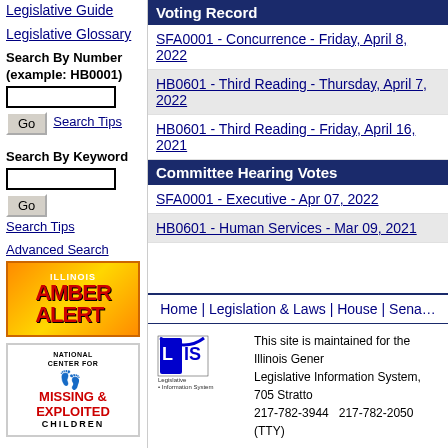Legislative Guide
Legislative Glossary
Search By Number (example: HB0001)
Search By Keyword
Advanced Search
Voting Record
SFA0001 - Concurrence - Friday, April 8, 2022
HB0601 - Third Reading - Thursday, April 7, 2022
HB0601 - Third Reading - Friday, April 16, 2021
Committee Hearing Votes
SFA0001 - Executive - Apr 07, 2022
HB0601 - Human Services - Mar 09, 2021
Home | Legislation & Laws | House | Senate
This site is maintained for the Illinois General Assembly by the Legislative Information System, 705 Stratton Building, Springfield, Illinois 62706
217-782-3944   217-782-2050 (TTY)
[Figure (logo): Illinois Amber Alert logo]
[Figure (logo): National Center for Missing & Exploited Children logo]
[Figure (logo): Legislative Information System (LIS) logo]